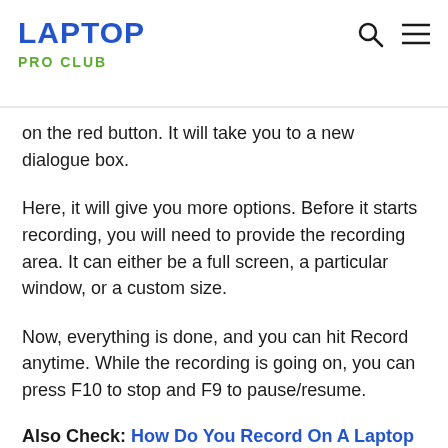LAPTOP PRO CLUB
on the red button. It will take you to a new dialogue box.
Here, it will give you more options. Before it starts recording, you will need to provide the recording area. It can either be a full screen, a particular window, or a custom size.
Now, everything is done, and you can hit Record anytime. While the recording is going on, you can press F10 to stop and F9 to pause/resume.
Also Check: How Do You Record On A Laptop
Use Youtube Live Streaming To